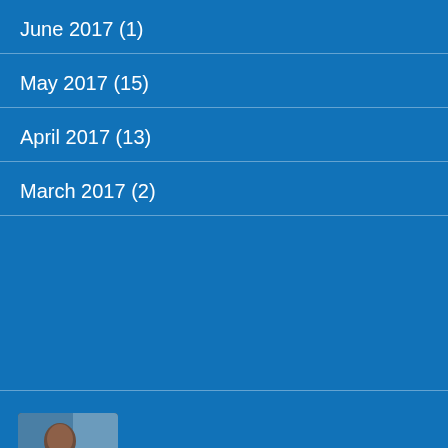June 2017 (1)
May 2017 (15)
April 2017 (13)
March 2017 (2)
[Figure (photo): Profile photo of flyingrohit author]
flyingrohit
Review: United 787-9 Premium Plus Newark to Los Angeles
Review: United 777-200 Business Class Los Angeles to Newark
Review: United 767-300 Business Class Newark to Los Angeles
Review: United 787-9 Polaris Business Class Mumbai to Newark